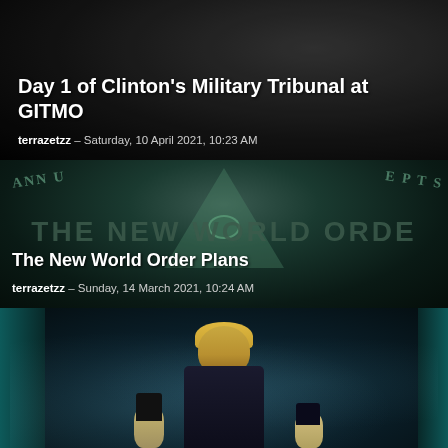Day 1 of Clinton's Military Tribunal at GITMO
terrazetzz – Saturday, 10 April 2021, 10:23 AM
[Figure (photo): Close-up of US dollar bill showing the all-seeing eye pyramid symbol with text 'THE NEW WORLD ORDER' overlaid in large letters]
The New World Order Plans
terrazetzz – Sunday, 14 March 2021, 10:24 AM
[Figure (photo): Dark atmospheric image showing a politician (Boris Johnson) with smaller figures against a dark misty blue-green background]